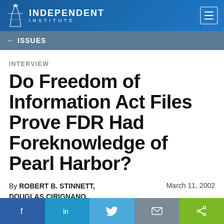INDEPENDENT INSTITUTE
← ISSUES
INTERVIEW
Do Freedom of Information Act Files Prove FDR Had Foreknowledge of Pearl Harbor?
By ROBERT B. STINNETT, DOUGLAS CIRIGNANO    March 11, 2002
[Figure (photo): Partial grayscale photograph at the bottom of the article header]
[Figure (infographic): Social share bar with Facebook, LinkedIn, Twitter, Email, and Share buttons]